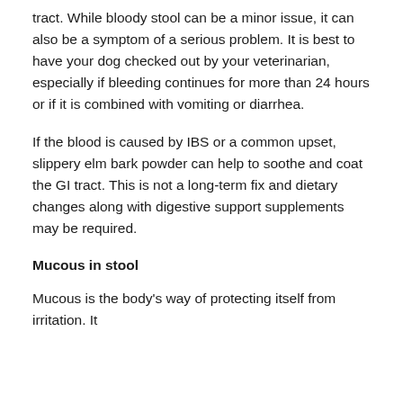tract. While bloody stool can be a minor issue, it can also be a symptom of a serious problem. It is best to have your dog checked out by your veterinarian, especially if bleeding continues for more than 24 hours or if it is combined with vomiting or diarrhea.
If the blood is caused by IBS or a common upset, slippery elm bark powder can help to soothe and coat the GI tract. This is not a long-term fix and dietary changes along with digestive support supplements may be required.
Mucous in stool
Mucous is the body's way of protecting itself from irritation. It